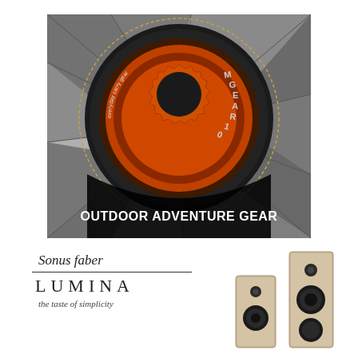[Figure (illustration): M-Gear outdoor adventure gear logo — an orange gear/cog symbol centered on a dark circular background with a broken stone/rock shattered surface surrounding it. Text 'OUTDOOR ADVENTURE GEAR' in bold white letters at the bottom of the image.]
[Figure (logo): Sonus faber Lumina logo — italic text 'Sonus faber' above a horizontal line, then large spaced letters 'LUMINA', then smaller italic text 'the taste of simplicity']
[Figure (photo): Sonus faber Lumina speaker product photo showing two light wood-finish bookshelf/floorstanding speakers]